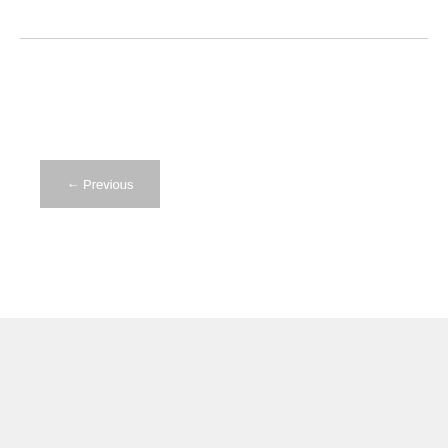← Previous
[Figure (illustration): Broken image icon placeholder (small, top-left corner near banner)]
[Figure (illustration): Advertisement banner for PornPasswordsz.com — dark background with red bra photo on right side, white text reading 'PornPasswordsz.com' and 'Free Porn Passwords and Premium Accounts Every Day!']
Search …
Search